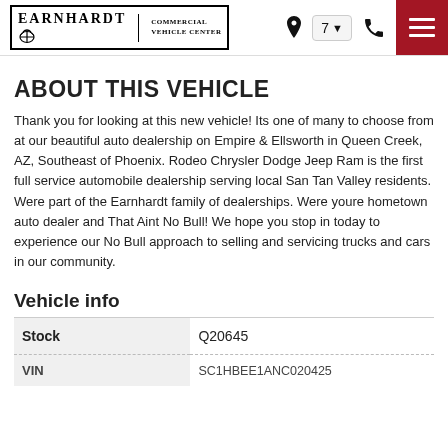Earnhardt Commercial Vehicle Center — navigation header with location, phone, and menu icons
ABOUT THIS VEHICLE
Thank you for looking at this new vehicle! Its one of many to choose from at our beautiful auto dealership on Empire & Ellsworth in Queen Creek, AZ, Southeast of Phoenix. Rodeo Chrysler Dodge Jeep Ram is the first full service automobile dealership serving local San Tan Valley residents. Were part of the Earnhardt family of dealerships. Were youre hometown auto dealer and That Aint No Bull! We hope you stop in today to experience our No Bull approach to selling and servicing trucks and cars in our community.
Vehicle info
|  |  |
| --- | --- |
| Stock | Q20645 |
| VIN | SC1HBEE1ANC020425 |